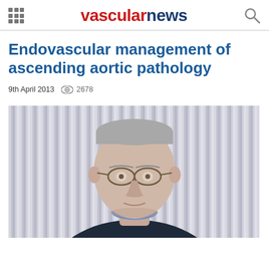vascular news
Endovascular management of ascending aortic pathology
9th April 2013    2678
[Figure (photo): Portrait photograph of a middle-aged man with glasses and short gray hair, wearing a dark suit jacket and blue shirt, standing in front of a vertically striped background]